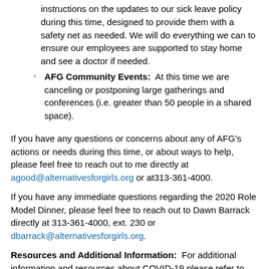instructions on the updates to our sick leave policy during this time, designed to provide them with a safety net as needed. We will do everything we can to ensure our employees are supported to stay home and see a doctor if needed.
AFG Community Events: At this time we are canceling or postponing large gatherings and conferences (i.e. greater than 50 people in a shared space).
If you have any questions or concerns about any of AFG’s actions or needs during this time, or about ways to help, please feel free to reach out to me directly at agood@alternativesforgirls.org or at313-361-4000.
If you have any immediate questions regarding the 2020 Role Model Dinner, please feel free to reach out to Dawn Barrack directly at 313-361-4000, ext. 230 or dbarrack@alternativesforgirls.org.
Resources and Additional Information: For additional information and resources about COVID-19 please refer to the following: